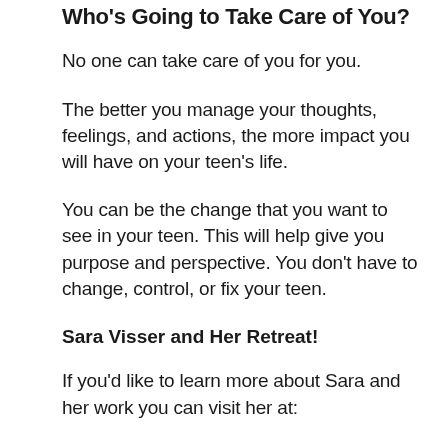Who's Going to Take Care of You?
No one can take care of you for you.
The better you manage your thoughts, feelings, and actions, the more impact you will have on your teen's life.
You can be the change that you want to see in your teen. This will help give you purpose and perspective. You don't have to change, control, or fix your teen.
Sara Visser and Her Retreat!
If you'd like to learn more about Sara and her work you can visit her at: